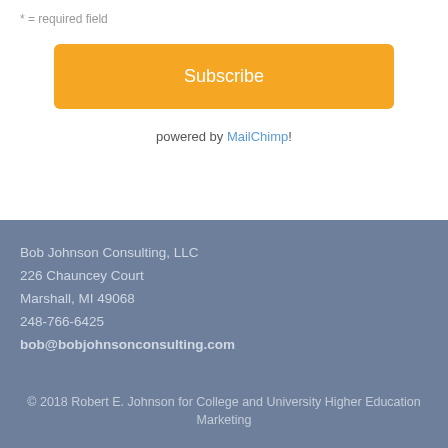* = required field
Subscribe
powered by MailChimp!
Bob Johnson Consulting, LLC
226 Chauncey Court
Marshall, MI 49068
248-766-6425
bob@bobjohnsonconsulting.com
© 2018 Robert E. Johnson for College and University Higher Education Marketing